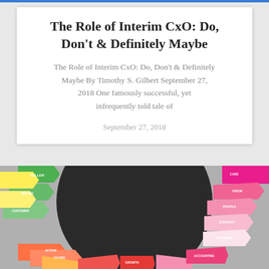The Role of Interim CxO: Do, Don't & Definitely Maybe
The Role of Interim CxO: Do, Don't & Definitely Maybe By Timothy S. Gilbert September 27, 2018 One famously successful, yet infrequently told tale of
September 27, 2018
[Figure (photo): A colorful wheel or fan of labeled cards/tabs arranged in a radial pattern around a dark circular center. The cards are in various colors including green, yellow, orange, red, pink, and magenta, with white text labels on each tab.]